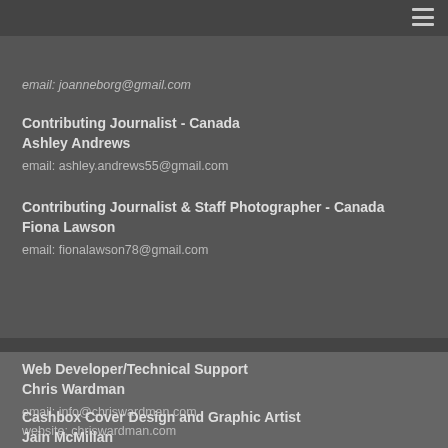email: joanneborg@gmail.com
Contributing Journalist - Canada
Ashley Andrews
email: ashley.andrews55@gmail.com
Contributing Journalist & Staff Photographer - Canada
Fiona Lawson
email: fionalawson78@gmail.com
Web Developer/Technical Support
Chris Wardman
email: info@chriswardman.com
website: chriswardman.com
Cashbox Cover Design and Graphic Artist
Jain McMillan